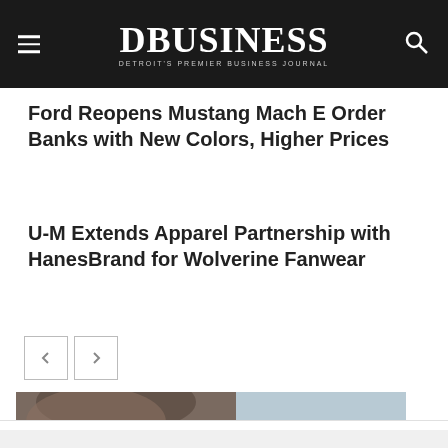DBUSINESS — Detroit's Premier Business Journal
Ford Reopens Mustang Mach E Order Banks with New Colors, Higher Prices
U-M Extends Apparel Partnership with HanesBrand for Wolverine Fanwear
[Figure (other): Navigation previous and next arrow buttons]
[Figure (photo): Partial photo of a person with brown hair, advertisement image]
[Figure (other): Close button (X) on advertisement overlay]